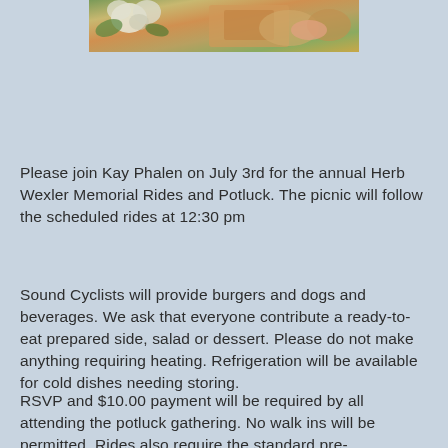[Figure (photo): Photo of food items including flowers and dishes at a potluck gathering, partially visible at the top of the page]
Please join Kay Phalen on July 3rd for the annual Herb Wexler Memorial Rides and Potluck. The picnic will follow the scheduled rides at 12:30 pm
Sound Cyclists will provide burgers and dogs and beverages. We ask that everyone contribute a ready-to-eat prepared side, salad or dessert. Please do not make anything requiring heating. Refrigeration will be available for cold dishes needing storing.
RSVP and $10.00 payment will be required by all attending the potluck gathering. No walk ins will be permitted. Rides also require the standard pre-